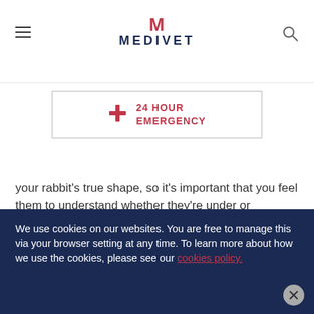MEDIVET
[Figure (other): 24 HOUR EMERGENCY button with cross icon inside a bordered rectangle]
your rabbit's true shape, so it's important that you feel them to understand whether they're under or overweight. Your vet will also weigh them at their health check to ensure they're in good shape.

Once you've settled on the right amount of food for
We use cookies on our websites. You are free to manage this via your browser setting at any time. To learn more about how we use the cookies, please see our cookies policy.